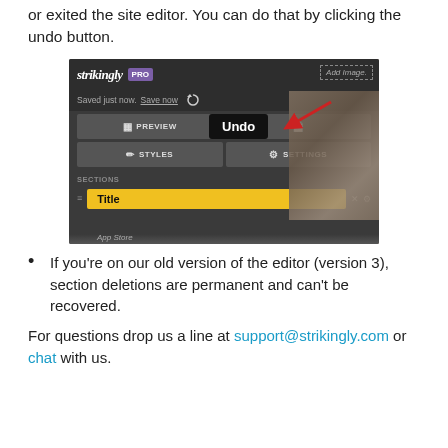or exited the site editor. You can do that by clicking the undo button.
[Figure (screenshot): Screenshot of Strikingly PRO editor showing the undo button tooltip, with PREVIEW, STYLES, SETTINGS buttons, a Sections panel with a Title section highlighted in yellow, and a red arrow pointing to the undo icon.]
If you're on our old version of the editor (version 3), section deletions are permanent and can't be recovered.
For questions drop us a line at support@strikingly.com or chat with us.